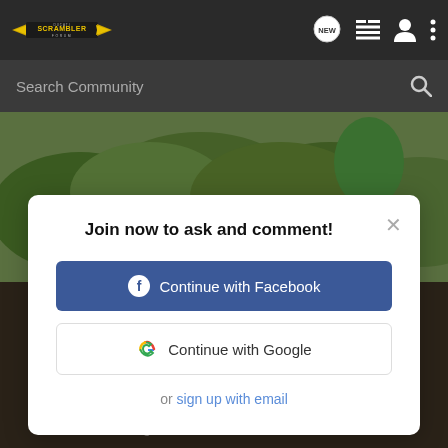Ducati Scrambler Forum
Search Community
[Figure (screenshot): Background photo of Ducati Scrambler motorcycle parked in front of green hedges/garden]
Join now to ask and comment!
Continue with Facebook
Continue with Google
or sign up with email